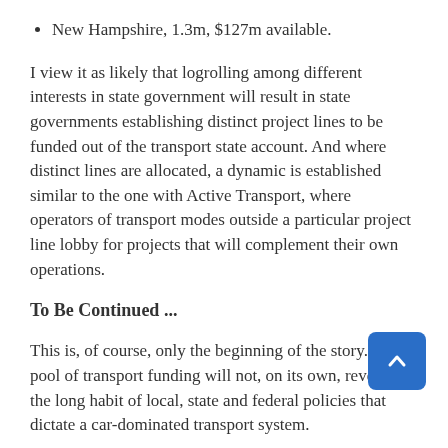New Hampshire, 1.3m, $127m available.
I view it as likely that logrolling among different interests in state government will result in state governments establishing distinct project lines to be funded out of the transport state account. And where distinct lines are allocated, a dynamic is established similar to the one with Active Transport, where operators of transport modes outside a particular project line lobby for projects that will complement their own operations.
To Be Continued ...
This is, of course, only the beginning of the story. One pool of transport funding will not, on its own, reverse the long habit of local, state and federal policies that dictate a car-dominated transport system.
But one must start somewhere. The next time that I